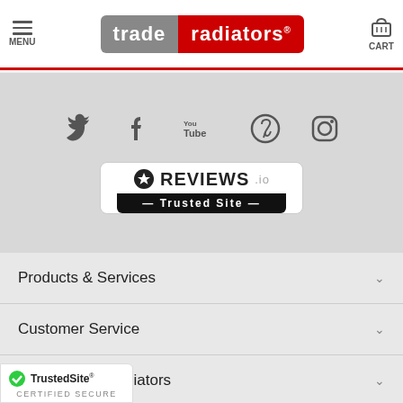[Figure (logo): Trade Radiators website header with hamburger menu, trade|radiators logo, and cart icon]
[Figure (infographic): Social media icons: Twitter, Facebook, YouTube, Pinterest, Instagram on grey background, plus REVIEWS.io Trusted Site badge]
Products & Services
Customer Service
About Trade Radiators
Contact Us
Sales & Customer Service:
...30
@traderadiators.com
[Figure (logo): TrustedSite Certified Secure badge]